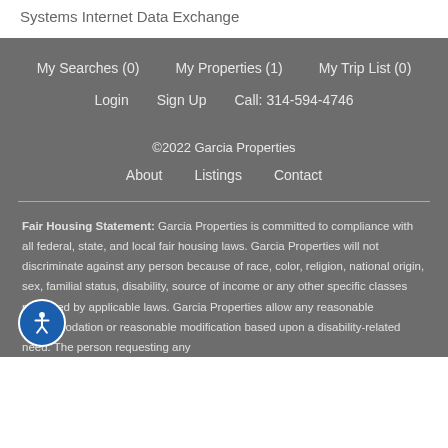Systems Internet Data Exchange
My Searches (0)   My Properties (1)   My Trip List (0)
Login   Sign Up   Call: 314-594-4746
©2022 Garcia Properties
About   Listings   Contact
Fair Housing Statement: Garcia Properties is committed to compliance with all federal, state, and local fair housing laws. Garcia Properties will not discriminate against any person because of race, color, religion, national origin, sex, familial status, disability, source of income or any other specific classes protected by applicable laws. Garcia Properties allow any reasonable accommodation or reasonable modification based upon a disability-related need. The person requesting any